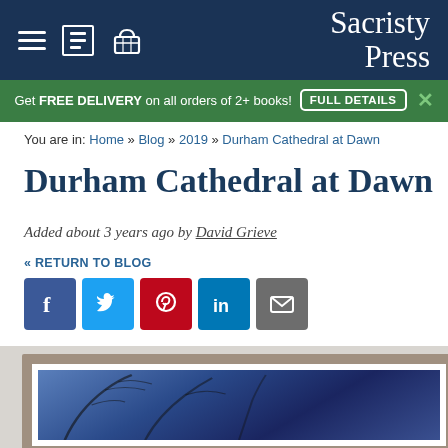Sacristy Press
Get FREE DELIVERY on all orders of 2+ books! FULL DETAILS ×
You are in: Home » Blog » 2019 » Durham Cathedral at Dawn
Durham Cathedral at Dawn
Added about 3 years ago by David Grieve
« RETURN TO BLOG
[Figure (other): Social media sharing buttons: Facebook, Twitter, Pinterest, LinkedIn, Email]
[Figure (photo): A framed photograph of Durham Cathedral at Dawn with blue twilight tones and tree branches visible, in a silver/pewter frame]